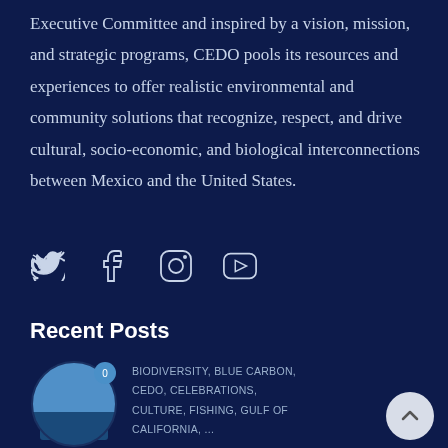Executive Committee and inspired by a vision, mission, and strategic programs, CEDO pools its resources and experiences to offer realistic environmental and community solutions that recognize, respect, and drive cultural, socio-economic, and biological interconnections between Mexico and the United States.
[Figure (infographic): Social media icons: Twitter (bird), Facebook (f), Instagram (camera), YouTube (play button) — white outline icons on dark navy background]
Recent Posts
[Figure (photo): Circular thumbnail photo of a person on a boat, with a blue badge showing '0' in the top right corner]
BIODIVERSITY, BLUE CARBON, CEDO, CELEBRATIONS, CULTURE, FISHING, GULF OF CALIFORNIA, ...
Regional Artisanal Fishing